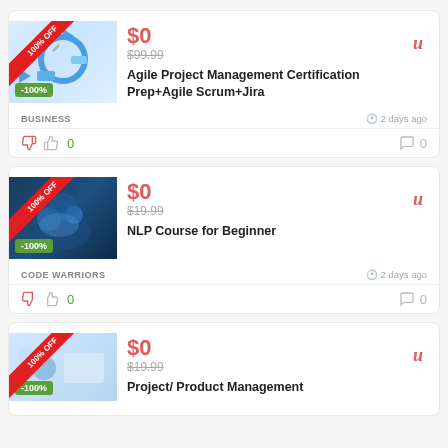[Figure (screenshot): Course card 1: Agile Project Management with thumbnail, -100% badge, $0 price, original $99.99]
Agile Project Management Certification Prep+Agile Scrum+Jira
BUSINESS | 2 days ago | 0 votes | 0 comments
[Figure (screenshot): Course card 2: NLP Course for Beginner with thumbnail, -100% badge, $0 price, original $19.99]
NLP Course for Beginner
CODE WARRIORS | 2 days ago | 0 votes | 0 comments
[Figure (screenshot): Course card 3: Project/ Product Management with thumbnail, -100% badge, $0 price, original $19.99]
Project/ Product Management